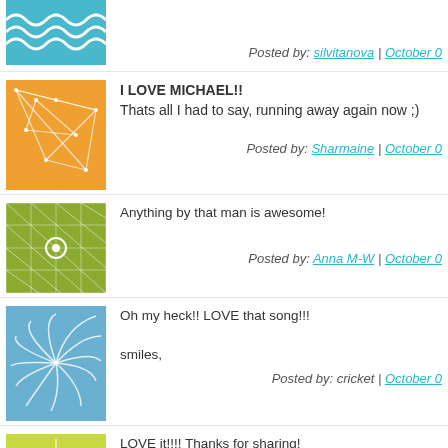Posted by: silvitanova | October 0...
I LOVE MICHAEL!!
Thats all I had to say, running away again now ;)
Posted by: Sharmaine | October 0...
Anything by that man is awesome!
Posted by: Anna M-W | October 0...
Oh my heck!! LOVE that song!!!
smiles,
Posted by: cricket | October 0...
LOVE it!!!! Thanks for sharing!
Posted by: Mary | October 0...
hahaha...you must have been posting this while we were chatting. Pi... cds...they are awesome!
Posted by: RondaPalazzari | October 1...